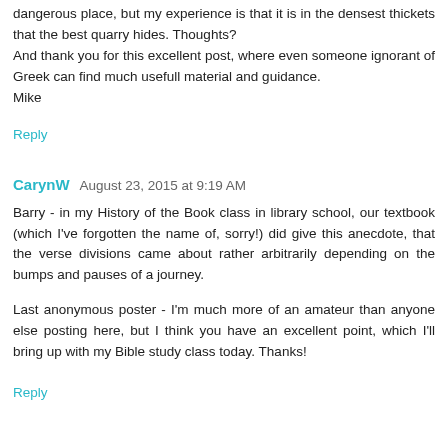dangerous place, but my experience is that it is in the densest thickets that the best quarry hides. Thoughts?
And thank you for this excellent post, where even someone ignorant of Greek can find much usefull material and guidance.
Mike
Reply
CarynW  August 23, 2015 at 9:19 AM
Barry - in my History of the Book class in library school, our textbook (which I've forgotten the name of, sorry!) did give this anecdote, that the verse divisions came about rather arbitrarily depending on the bumps and pauses of a journey.
Last anonymous poster - I'm much more of an amateur than anyone else posting here, but I think you have an excellent point, which I'll bring up with my Bible study class today. Thanks!
Reply